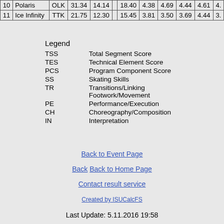| # | Name | Nation | TSS | TES |  | PCS | SS | TR | PE | CH | IN |
| --- | --- | --- | --- | --- | --- | --- | --- | --- | --- | --- | --- |
| 10 | Polaris | OLK | 31.34 | 14.14 |  | 18.40 | 4.38 | 4.69 | 4.44 | 4.61 | 4. |
| 11 | Ice Infinity | TTK | 21.75 | 12.30 |  | 15.45 | 3.81 | 3.50 | 3.69 | 4.44 | 3. |
Legend
TSS   Total Segment Score
TES   Technical Element Score
PCS   Program Component Score
SS    Skating Skills
TR    Transitions/Linking Footwork/Movement
PE    Performance/Execution
CH    Choreography/Composition
IN    Interpretation
Back to Event Page
Back   Back to Home Page
Contact result service
Created by ISUCalcFS
Last Update: 5.11.2016 19:58